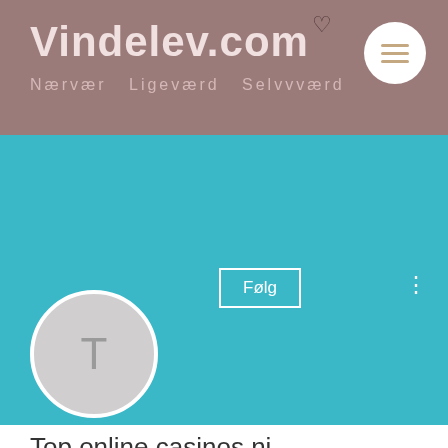Vindelev.com — Nærvær  Ligeværd  Selvvværd
[Figure (screenshot): User profile page on Vindelev.com website showing a teal header with a circular avatar placeholder with letter T, a Følg (Follow) button, profile name 'Top online casinos nj', 0 Følgere • 0 Følger, and a Profil section heading, with a grey bottom navigation bar showing phone, email, Facebook, and Instagram icons.]
Top online casinos nj
0 Følgere • 0 Følger
Profil
Phone | Email | Facebook | Instagram